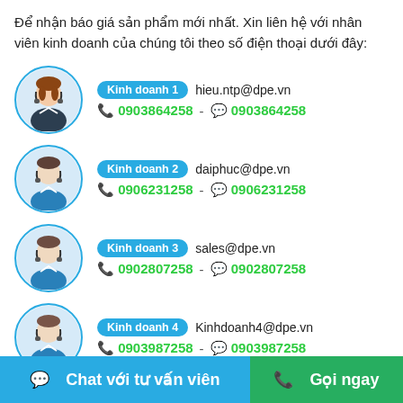Để nhận báo giá sản phẩm mới nhất. Xin liên hệ với nhân viên kinh doanh của chúng tôi theo số điện thoại dưới đây:
Kinh doanh 1 | hieu.ntp@dpe.vn | 0903864258 - 0903864258
Kinh doanh 2 | daiphuc@dpe.vn | 0906231258 - 0906231258
Kinh doanh 3 | sales@dpe.vn | 0902807258 - 0902807258
Kinh doanh 4 | Kinhdoanh4@dpe.vn | 0903987258 - 0903987258
Chat với tư vấn viên | Gọi ngay